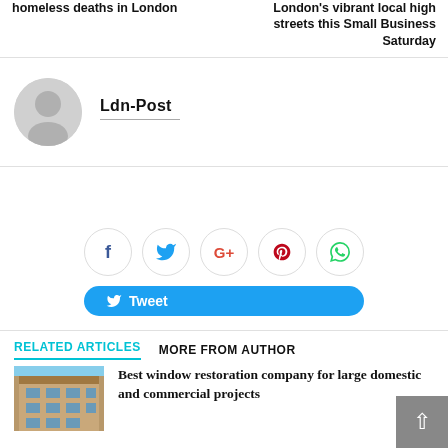homeless deaths in London
London's vibrant local high streets this Small Business Saturday
[Figure (illustration): Author avatar placeholder - grey circle with person silhouette]
Ldn-Post
[Figure (infographic): Social media share buttons: Facebook, Twitter, Google+, Pinterest, WhatsApp circle icons, and a blue Tweet button]
RELATED ARTICLES
MORE FROM AUTHOR
[Figure (photo): Thumbnail photo of a brick building with windows]
Best window restoration company for large domestic and commercial projects